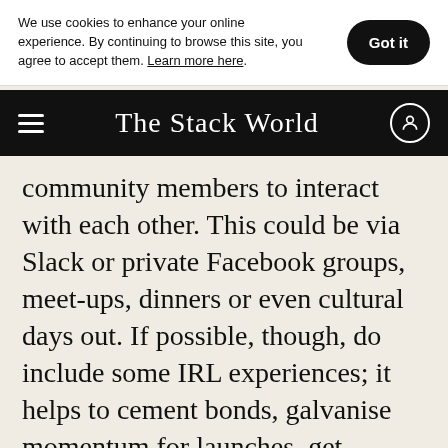We use cookies to enhance your online experience. By continuing to browse this site, you agree to accept them. Learn more here.
The Stack World
community members to interact with each other. This could be via Slack or private Facebook groups, meet-ups, dinners or even cultural days out. If possible, though, do include some IRL experiences; it helps to cement bonds, galvanise momentum for launches, get feedback in real time and even test geographic expansions. For digital brands, pop-ups can be a great way to bring your community together (think By Rotation's 2021 pop-up in Westfield).